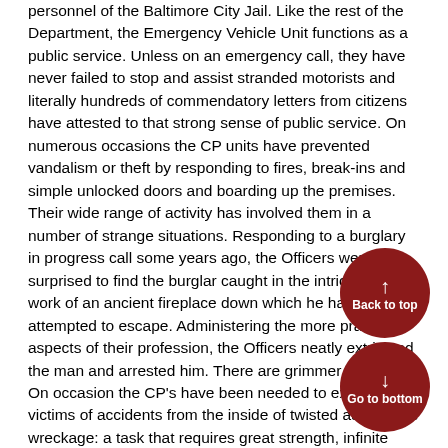personnel of the Baltimore City Jail. Like the rest of the Department, the Emergency Vehicle Unit functions as a public service. Unless on an emergency call, they have never failed to stop and assist stranded motorists and literally hundreds of commendatory letters from citizens have attested to that strong sense of public service. On numerous occasions the CP units have prevented vandalism or theft by responding to fires, break-ins and simple unlocked doors and boarding up the premises. Their wide range of activity has involved them in a number of strange situations. Responding to a burglary in progress call some years ago, the Officers were surprised to find the burglar caught in the intricate iron work of an ancient fireplace down which he had attempted to escape. Administering the more practical aspects of their profession, the Officers neatly extricated the man and arrested him. There are grimmer aspects. On occasion the CP's have been needed to extricate victims of accidents from the inside of twisted automobile wreckage: a task that requires great strength, infinite patience, and tenderness attributes no number of tools can supply. During